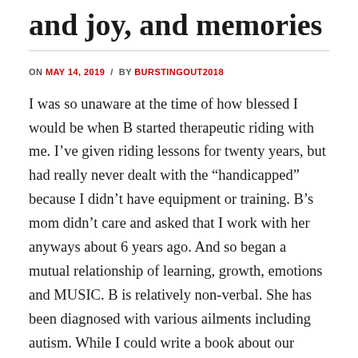and joy, and memories
ON MAY 14, 2019 / BY BURSTINGOUT2018
I was so unaware at the time of how blessed I would be when B started therapeutic riding with me.  I've given riding lessons for twenty years, but had really never dealt with the “handicapped” because I didn’t have equipment or training.  B’s mom didn’t care and asked that I work with her anyways about 6 years ago.  And so began a mutual relationship of learning, growth, emotions and MUSIC.  B is relatively non-verbal.  She has been diagnosed with various ailments including autism.  While I could write a book about our